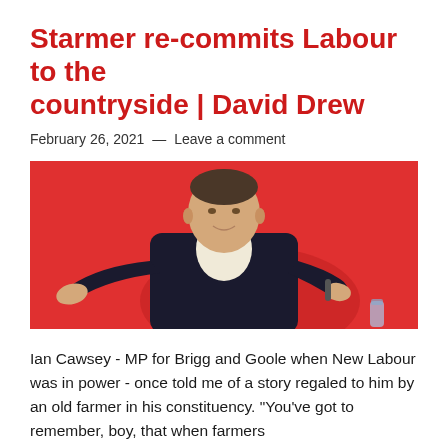Starmer re-commits Labour to the countryside | David Drew
February 26, 2021 — Leave a comment
[Figure (photo): Photo of Keir Starmer in a dark suit, gesturing with his hands open, against a red background typical of a Labour Party event.]
Ian Cawsey - MP for Brigg and Goole when New Labour was in power - once told me of a story regaled to him by an old farmer in his constituency. "You've got to remember, boy, that when farmers